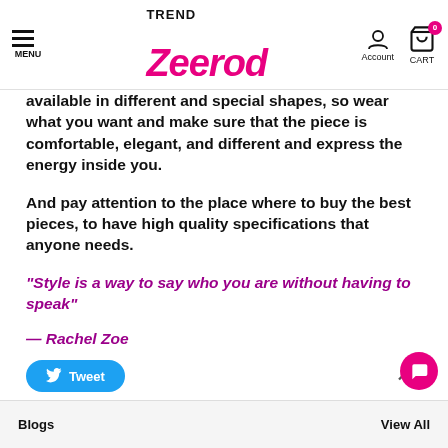MENU | Trend Zeerod | Account | CART 0
available in different and special shapes, so wear what you want and make sure that the piece is comfortable, elegant, and different and express the energy inside you.
And pay attention to the place where to buy the best pieces, to have high quality specifications that anyone needs.
“Style is a way to say who you are without having to speak”
— Rachel Zoe
Tweet
Blogs   View All